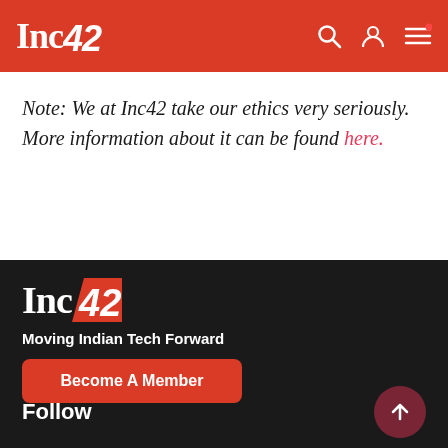Inc42 — Moving Indian Tech Forward — navigation header
Note: We at Inc42 take our ethics very seriously. More information about it can be found here.
[Figure (logo): Inc42 logo in white on dark background with tagline 'Moving Indian Tech Forward' and 'Become A Member' button]
Follow